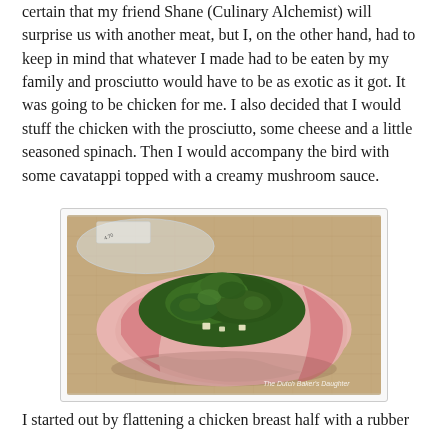certain that my friend Shane (Culinary Alchemist) will surprise us with another meat, but I, on the other hand, had to keep in mind that whatever I made had to be eaten by my family and prosciutto would have to be as exotic as it got. It was going to be chicken for me. I also decided that I would stuff the chicken with the prosciutto, some cheese and a little seasoned spinach. Then I would accompany the bird with some cavatappi topped with a creamy mushroom sauce.
[Figure (photo): A raw chicken breast half stuffed with seasoned spinach and cheese, wrapped in prosciutto, placed on a burlap/silicone mat surface. A plastic bag is partially visible. Watermark reads 'The Dutch Baker's Daughter'.]
I started out by flattening a chicken breast half with a rubber